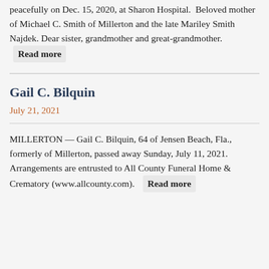peacefully on Dec. 15, 2020, at Sharon Hospital. Beloved mother of Michael C. Smith of Millerton and the late Mariley Smith Najdek. Dear sister, grandmother and great-grandmother. Read more
Gail C. Bilquin
July 21, 2021
MILLERTON — Gail C. Bilquin, 64 of Jensen Beach, Fla., formerly of Millerton, passed away Sunday, July 11, 2021. Arrangements are entrusted to All County Funeral Home & Crematory (www.allcounty.com). Read more